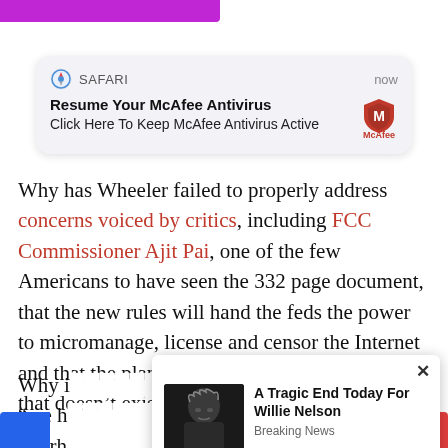[Figure (screenshot): Safari browser push notification card showing McAfee Antivirus prompt: 'Resume Your McAfee Antivirus / Click Here To Keep McAfee Antivirus Active' with McAfee logo, timestamp 'now']
Why has Wheeler failed to properly address concerns voiced by critics, including FCC Commissioner Ajit Pai, one of the few Americans to have seen the 332 page document, that the new rules will hand the feds the power to micromanage, license and censor the Internet and that the plan is a “solution” to a problem that doesn’t exist?
Why i...ous, “we h...t is in it.” rh...
[Figure (screenshot): Popup advertisement showing a photo of Willie Nelson with headline 'A Tragic End Today For Willie Nelson' and tag 'Breaking News']